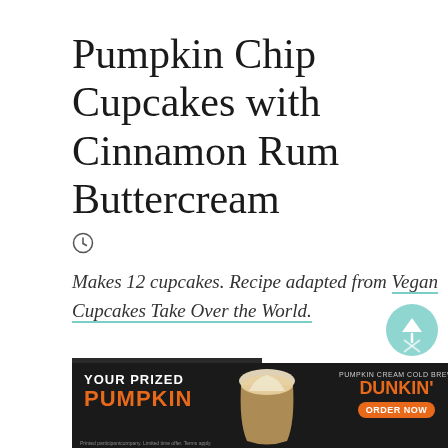Pumpkin Chip Cupcakes with Cinnamon Rum Buttercream
[Figure (other): Clock icon]
Makes 12 cupcakes. Recipe adapted from Vegan Cupcakes Take Over the World.
PRINT RECIPE
[Figure (other): Dunkin' advertisement banner: YOUR PRIZED PUMPKIN — PUMPKIN CREAM COLD BREW — DUNKIN' — ORDER NOW]